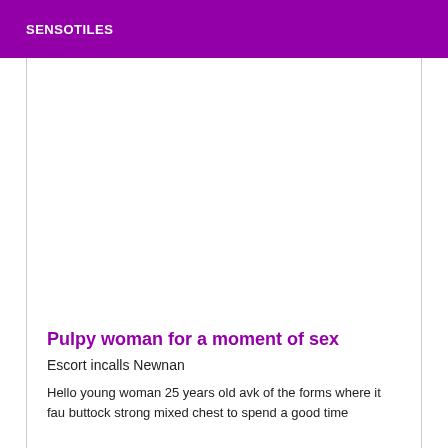SENSOTILES
[Figure (other): Advertisement placeholder area (blank white space)]
Pulpy woman for a moment of sex
Escort incalls Newnan
Hello young woman 25 years old avk of the forms where it fau buttock strong mixed chest to spend a good time